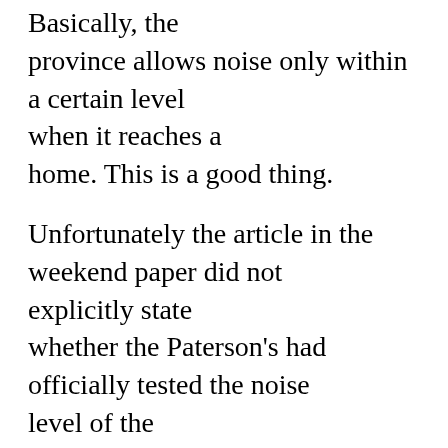Basically, the province allows noise only within a certain level when it reaches a home. This is a good thing.
Unfortunately the article in the weekend paper did not explicitly state whether the Paterson's had officially tested the noise level of the offending wind turbine or what those levels were. That puts into question whether their neighbors turbine noise level actually contravenes the provincial standard.
It is a fine line in rural living where, expecting for